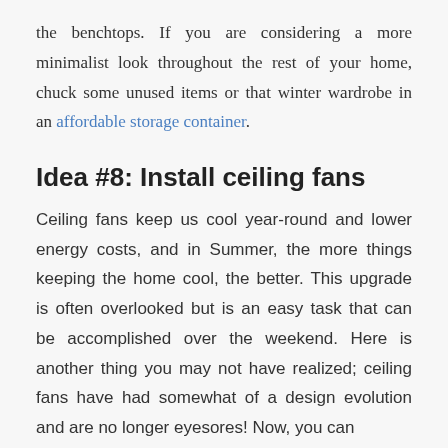the benchtops. If you are considering a more minimalist look throughout the rest of your home, chuck some unused items or that winter wardrobe in an affordable storage container.
Idea #8: Install ceiling fans
Ceiling fans keep us cool year-round and lower energy costs, and in Summer, the more things keeping the home cool, the better. This upgrade is often overlooked but is an easy task that can be accomplished over the weekend. Here is another thing you may not have realized; ceiling fans have had somewhat of a design evolution and are no longer eyesores! Now, you can